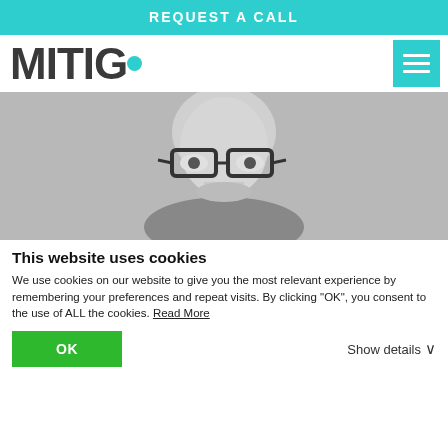REQUEST A CALL
[Figure (logo): MITIGO logo with teal dot replacing the O letter, and teal hamburger menu icon on the right]
[Figure (photo): Black and white headshot photo of a bald man wearing glasses, smiling slightly]
This website uses cookies
We use cookies on our website to give you the most relevant experience by remembering your preferences and repeat visits. By clicking "OK", you consent to the use of ALL the cookies. Read More
OK
Show details